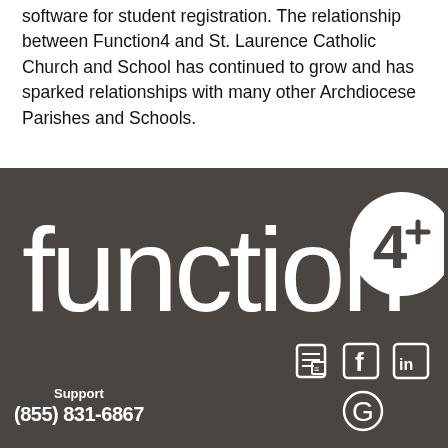software for student registration. The relationship between Function4 and St. Laurence Catholic Church and School has continued to grow and has sparked relationships with many other Archdiocese Parishes and Schools.
[Figure (logo): Function4 logo in white on dark brown/gray background, with large stylized 'function' text and a circular '4' badge on the right]
Support
(855) 831-6867
[Figure (other): Social media icons: document/article icon, Facebook 'f' icon, LinkedIn 'in' icon, Google 'G' icon — all white on dark background]